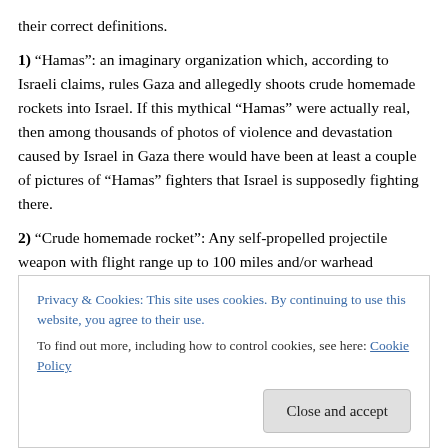their correct definitions.
1) “Hamas”: an imaginary organization which, according to Israeli claims, rules Gaza and allegedly shoots crude homemade rockets into Israel. If this mythical “Hamas” were actually real, then among thousands of photos of violence and devastation caused by Israel in Gaza there would have been at least a couple of pictures of “Hamas” fighters that Israel is supposedly fighting there.
2) “Crude homemade rocket”: Any self-propelled projectile weapon with flight range up to 100 miles and/or warhead
Privacy & Cookies: This site uses cookies. By continuing to use this website, you agree to their use.
To find out more, including how to control cookies, see here: Cookie Policy
Close and accept